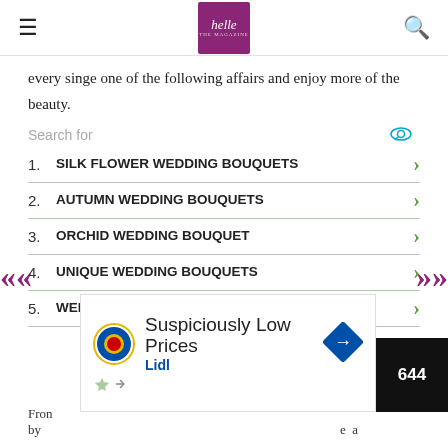helle THE MAGAZINE
every singe one of the following affairs and enjoy more of the beauty.
1. SILK FLOWER WEDDING BOUQUETS
2. AUTUMN WEDDING BOUQUETS
3. ORCHID WEDDING BOUQUET
4. UNIQUE WEDDING BOUQUETS
5. WEDDING BAND SETS
[Figure (other): Advertisement for Lidl - Suspiciously Low Prices]
From ... by ... e a